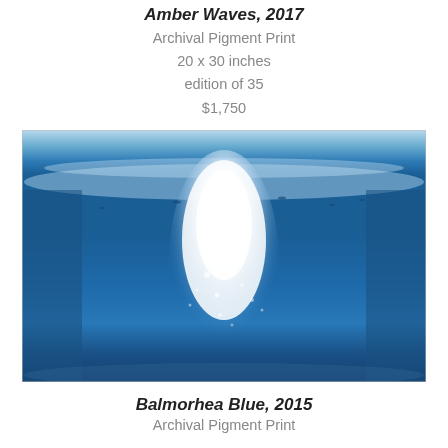Amber Waves, 2017
Archival Pigment Print
20 x 30 inches
edition of 35
$1,750
[Figure (photo): Underwater photograph showing a large wave breaking from below the surface, with white foam and bubbles cascading downward in blue water, with small fish visible in the background]
Balmorhea Blue, 2015
Archival Pigment Print